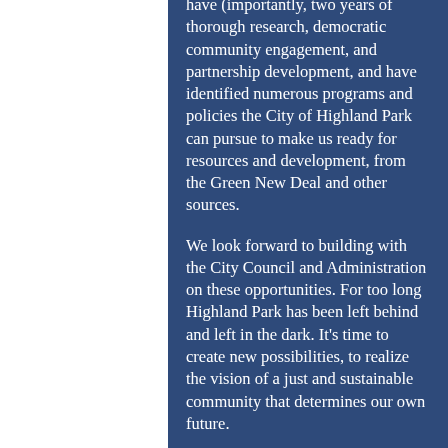have (importantly, two years of thorough research, democratic community engagement, and partnership development, and have identified numerous programs and policies the City of Highland Park can pursue to make us ready for resources and development, from the Green New Deal and other sources.
We look forward to building with the City Council and Administration on these opportunities. For too long Highland Park has been left behind and left in the dark. It's time to create new possibilities, to realize the vision of a just and sustainable community that determines our own future.
We invite the Council,